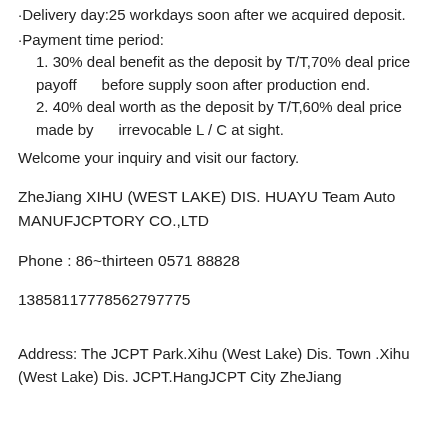·Delivery day:25 workdays soon after we acquired deposit.
·Payment time period:
  1. 30% deal benefit as the deposit by T/T,70% deal price payoff     before supply soon after production end.
  2. 40% deal worth as the deposit by T/T,60% deal price made by     irrevocable L / C at sight.
Welcome your inquiry and visit our factory.
ZheJiang XIHU (WEST LAKE) DIS. HUAYU Team Auto MANUFJCPTORY CO.,LTD
Phone : 86~thirteen 0571 88828
13858117778562797775
Address: The JCPT Park.Xihu (West Lake) Dis. Town .Xihu (West Lake) Dis. JCPT.HangJCPT City ZheJiang